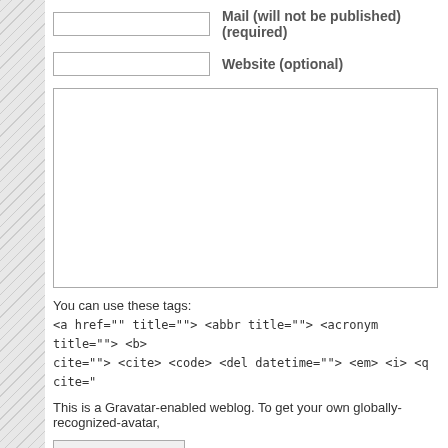Mail (will not be published) (required)
Website (optional)
You can use these tags:
<a href="" title=""> <abbr title=""> <acronym title=""> <b> cite=""> <cite> <code> <del datetime=""> <em> <i> <q cite="
This is a Gravatar-enabled weblog. To get your own globally-recognized-avatar,
Submit Comment